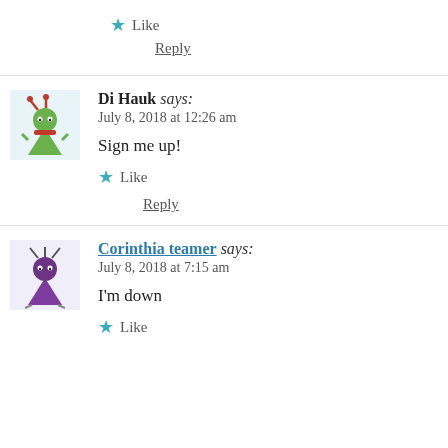★ Like
Reply
Di Hauk says:
July 8, 2018 at 12:26 am
Sign me up!
★ Like
Reply
Corinthia teamer says:
July 8, 2018 at 7:15 am
I'm down
★ Like